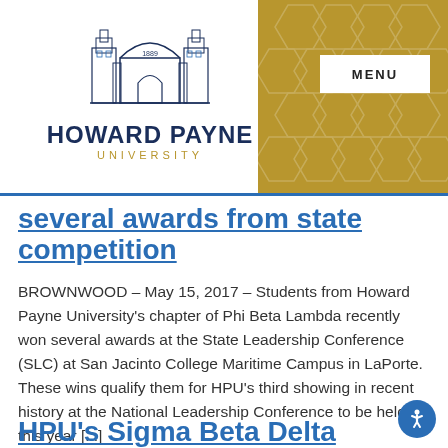[Figure (logo): Howard Payne University logo with building illustration, text 'HOWARD PAYNE UNIVERSITY' in navy and gold]
several awards from state competition
BROWNWOOD – May 15, 2017 – Students from Howard Payne University's chapter of Phi Beta Lambda recently won several awards at the State Leadership Conference (SLC) at San Jacinto College Maritime Campus in LaPorte. These wins qualify them for HPU's third showing in recent history at the National Leadership Conference to be held this year [...]
HPU's Sigma Beta Delta